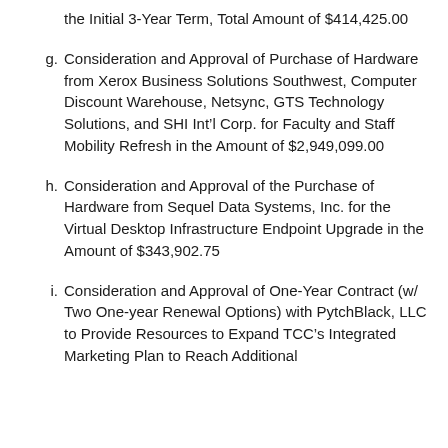the Initial 3-Year Term, Total Amount of $414,425.00
g. Consideration and Approval of Purchase of Hardware from Xerox Business Solutions Southwest, Computer Discount Warehouse, Netsync, GTS Technology Solutions, and SHI Int’l Corp. for Faculty and Staff Mobility Refresh in the Amount of $2,949,099.00
h. Consideration and Approval of the Purchase of Hardware from Sequel Data Systems, Inc. for the Virtual Desktop Infrastructure Endpoint Upgrade in the Amount of $343,902.75
i. Consideration and Approval of One-Year Contract (w/ Two One-year Renewal Options) with PytchBlack, LLC to Provide Resources to Expand TCC’s Integrated Marketing Plan to Reach Additional